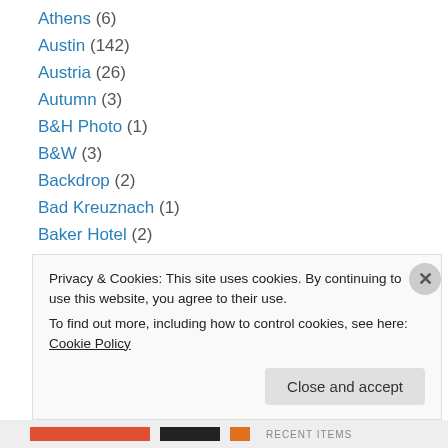Athens (6)
Austin (142)
Austria (26)
Autumn (3)
B&H Photo (1)
B&W (3)
Backdrop (2)
Bad Kreuznach (1)
Baker Hotel (2)
Balboa Park (2)
Bald Eagle (1)
Balloon (1)
Barn (1)
Privacy & Cookies: This site uses cookies. By continuing to use this website, you agree to their use. To find out more, including how to control cookies, see here: Cookie Policy